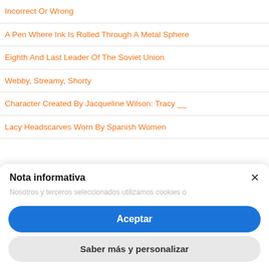Incorrect Or Wrong
A Pen Where Ink Is Rolled Through A Metal Sphere
Eighth And Last Leader Of The Soviet Union
Webby, Streamy, Shorty
Character Created By Jacqueline Wilson: Tracy __
Lacy Headscarves Worn By Spanish Women
Nota informativa
Nosotros y terceros seleccionados utilizamos cookies o...
Aceptar
Saber más y personalizar